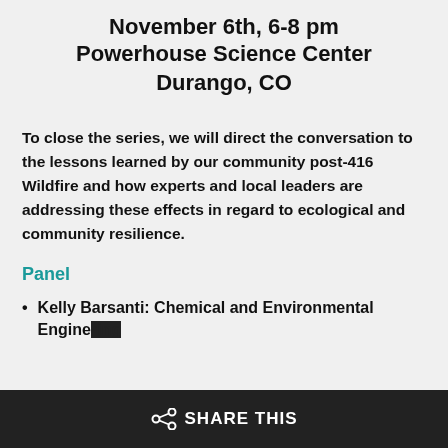November 6th, 6-8 pm
Powerhouse Science Center
Durango, CO
To close the series, we will direct the conversation to the lessons learned by our community post-416 Wildfire and how experts and local leaders are addressing these effects in regard to ecological and community resilience.
Panel
Kelly Barsanti: Chemical and Environmental Engineering ...